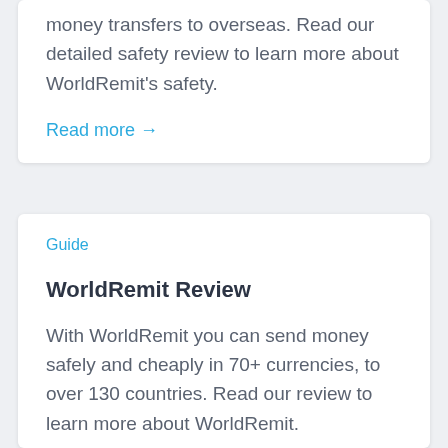money transfers to overseas. Read our detailed safety review to learn more about WorldRemit's safety.
Read more →
Guide
WorldRemit Review
With WorldRemit you can send money safely and cheaply in 70+ currencies, to over 130 countries. Read our review to learn more about WorldRemit.